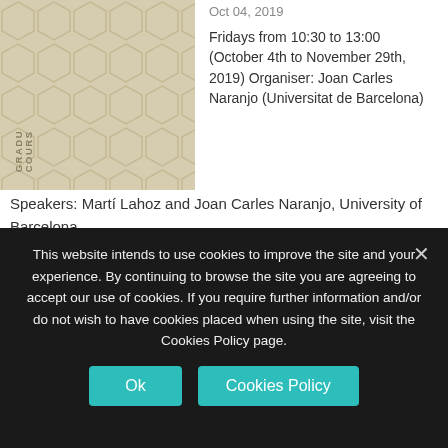[Figure (illustration): Graduate courses banner image with hexagonal pattern background in beige/tan color, with vertical text reading GRADUATE COURSES]
Oct 04, 2019

Fridays from 10:30 to 13:00 (October 4th to November 29th, 2019) Organiser: Joan Carles Naranjo (Universitat de Barcelona)
Speakers: Martí Lahoz and Joan Carles Naranjo, University of Barcelona
[Figure (illustration): Graduate courses banner image with hexagonal pattern background in beige/tan color, with vertical text reading GRADUATE COURSES]
Lectures on Quadratic Forms
Sep 17, 2019
This website intends to use cookies to improve the site and your experience. By continuing to browse the site you are agreeing to accept our use of cookies. If you require further information and/or do not wish to have cookies placed when using the site, visit the Cookies Policy page.